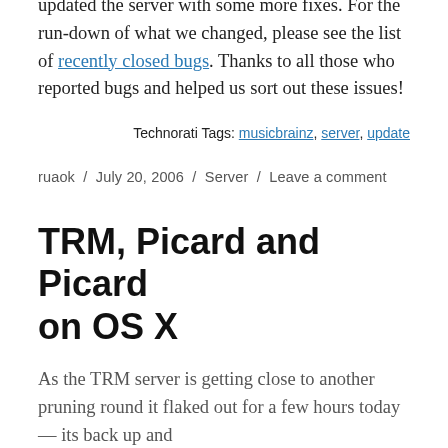updated the server with some more fixes. For the run-down of what we changed, please see the list of recently closed bugs. Thanks to all those who reported bugs and helped us sort out these issues!
Technorati Tags: musicbrainz, server, update
ruaok / July 20, 2006 / Server / Leave a comment
TRM, Picard and Picard on OS X
As the TRM server is getting close to another pruning round it flaked out for a few hours today — its back up and